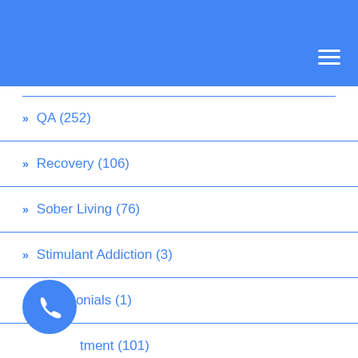Navigation menu header bar with hamburger icon
> QA (252)
> Recovery (106)
> Sober Living (76)
> Stimulant Addiction (3)
> Testimonials (1)
> Treatment (101)
> Trending (5)